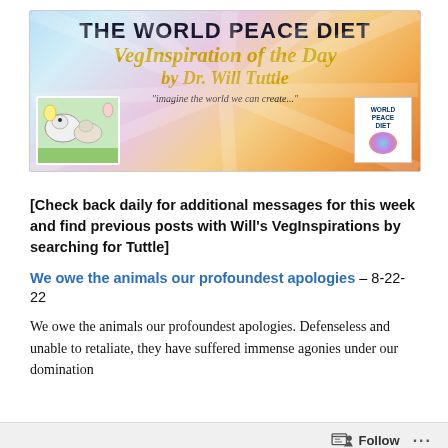[Figure (illustration): Banner header image for 'The World Peace Diet VegInspiration of the Day by Dr. Will Tuttle' with colorful rainbow background, animals artwork on left, World Peace Diet logo on right, and tagline 'imagine the world we can create...']
[Check back daily for additional messages for this week and find previous posts with Will's VegInspirations by searching for Tuttle]
We owe the animals our profoundest apologies – 8-22-22
We owe the animals our profoundest apologies. Defenseless and unable to retaliate, they have suffered immense agonies under our domination
Follow ...